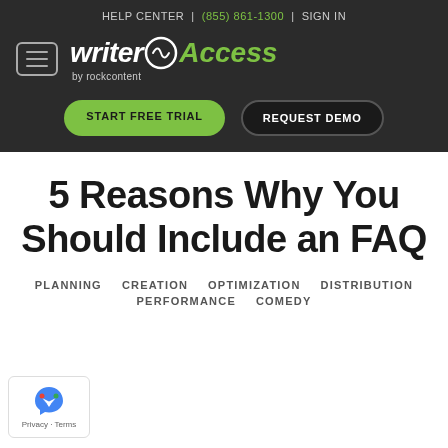HELP CENTER | (855) 861-1300 | SIGN IN
[Figure (logo): WriterAccess by rockcontent logo with hamburger menu icon]
START FREE TRIAL   REQUEST DEMO
5 Reasons Why You Should Include an FAQ
PLANNING   CREATION   OPTIMIZATION   DISTRIBUTION   PERFORMANCE   COMEDY
[Figure (logo): Google reCAPTCHA privacy badge with Privacy - Terms text]